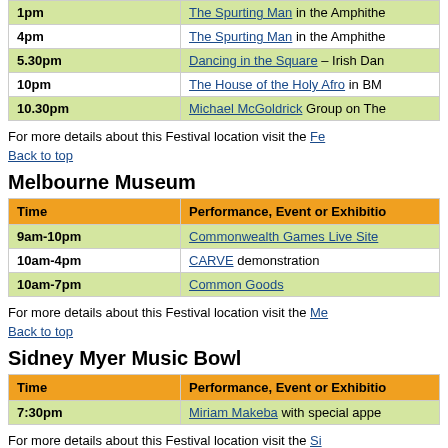| Time | Performance, Event or Exhibition |
| --- | --- |
| 1pm | The Spurting Man in the Amphithe… |
| 4pm | The Spurting Man in the Amphithe… |
| 5.30pm | Dancing in the Square – Irish Dan… |
| 10pm | The House of the Holy Afro in BM… |
| 10.30pm | Michael McGoldrick Group on The… |
For more details about this Festival location visit the Fe…
Back to top
Melbourne Museum
| Time | Performance, Event or Exhibition |
| --- | --- |
| 9am-10pm | Commonwealth Games Live Site |
| 10am-4pm | CARVE demonstration |
| 10am-7pm | Common Goods |
For more details about this Festival location visit the Me…
Back to top
Sidney Myer Music Bowl
| Time | Performance, Event or Exhibition |
| --- | --- |
| 7:30pm | Miriam Makeba with special appe… |
For more details about this Festival location visit the Si…